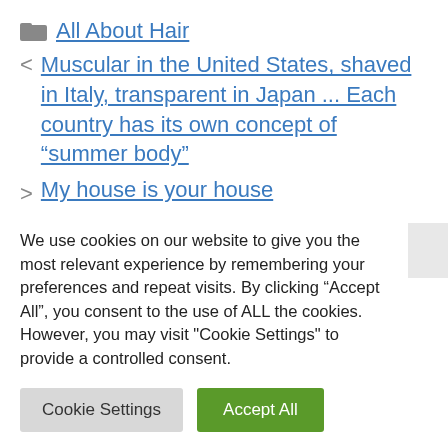All About Hair
Muscular in the United States, shaved in Italy, transparent in Japan ... Each country has its own concept of “summer body”
My house is your house
We use cookies on our website to give you the most relevant experience by remembering your preferences and repeat visits. By clicking “Accept All”, you consent to the use of ALL the cookies. However, you may visit "Cookie Settings" to provide a controlled consent.